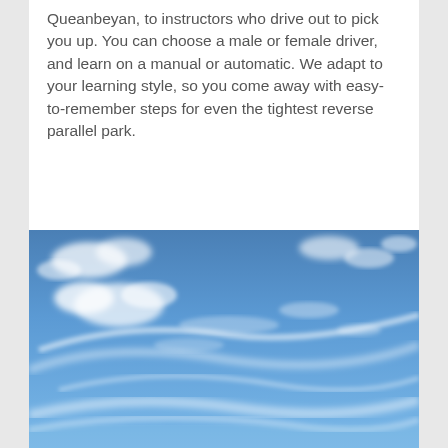Queanbeyan, to instructors who drive out to pick you up. You can choose a male or female driver, and learn on a manual or automatic. We adapt to your learning style, so you come away with easy-to-remember steps for even the tightest reverse parallel park.
[Figure (photo): A photo of a blue sky with wispy white clouds, taken at an upward angle. The sky is a rich blue and the clouds are scattered in thin, cirrus-like streaks across the frame.]